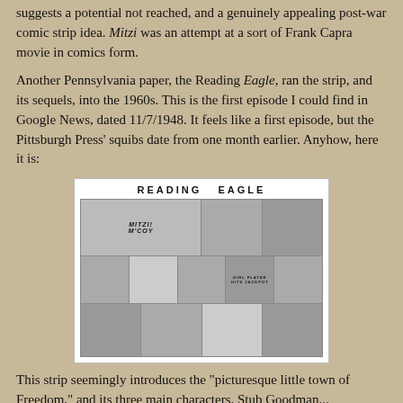suggests a potential not reached, and a genuinely appealing post-war comic strip idea. Mitzi was an attempt at a sort of Frank Capra movie in comics form.
Another Pennsylvania paper, the Reading Eagle, ran the strip, and its sequels, into the 1960s. This is the first episode I could find in Google News, dated 11/7/1948. It feels like a first episode, but the Pittsburgh Press' squibs date from one month earlier. Anyhow, here it is:
[Figure (photo): A scan of the Reading Eagle newspaper comic strip 'Mitzi McCoy', showing three rows of comic panels in black and white. The header reads 'READING EAGLE' in bold letters. The first row contains the title panel 'MITZI McCOY' with action scenes, and smaller panels. The second and third rows contain dialogue panels with characters.]
This strip seemingly introduces the "picturesque little town of Freedom," and its three main characters, Stub Goodman...